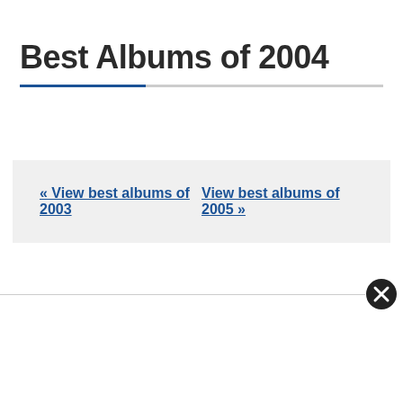Best Albums of 2004
« View best albums of 2003   View best albums of 2005 »